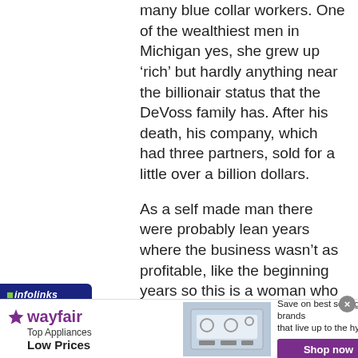many blue collar workers. One of the wealthiest men in Michigan yes, she grew up 'rich' but hardly anything near the billionair status that the DeVoss family has. After his death, his company, which had three partners, sold for a little over a billion dollars.
As a self made man there were probably lean years where the business wasn't as profitable, like the beginning years so this is a woman who
[Figure (screenshot): Infolinks label bar and Wayfair advertisement banner showing 'Top Appliances Low Prices' with kitchen appliance image and 'Save on best selling brands that live up to the hype' with a purple 'Shop now' button]